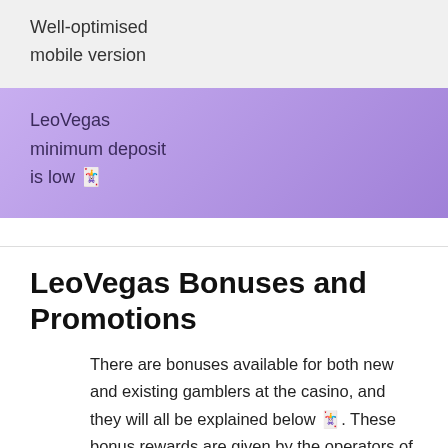Well-optimised mobile version
LeoVegas minimum deposit is low 🎰
LeoVegas Bonuses and Promotions
There are bonuses available for both new and existing gamblers at the casino, and they will all be explained below 🎰. These bonus rewards are given by the operators of the site